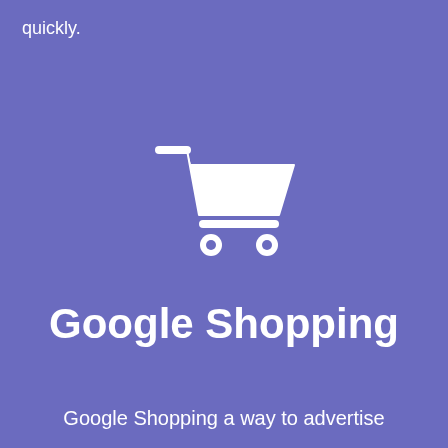quickly.
[Figure (illustration): White shopping cart icon on purple background]
Google Shopping
Google Shopping a way to advertise